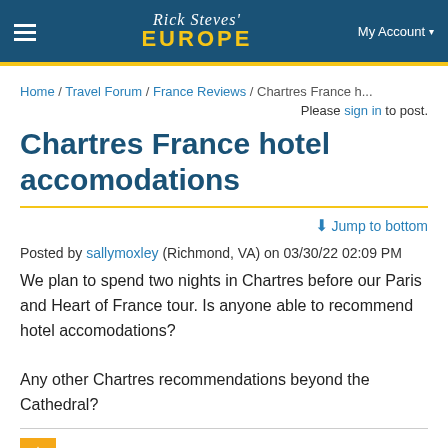Rick Steves' EUROPE | My Account
Home / Travel Forum / France Reviews / Chartres France h...
Please sign in to post.
Chartres France hotel accomodations
Jump to bottom
Posted by sallymoxley (Richmond, VA) on 03/30/22 02:09 PM
We plan to spend two nights in Chartres before our Paris and Heart of France tour. Is anyone able to recommend hotel accomodations?

Any other Chartres recommendations beyond the Cathedral?
Posted by balso